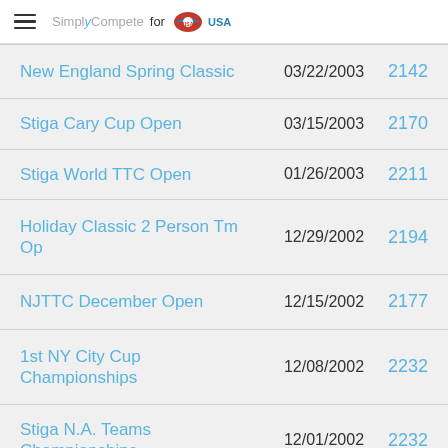SimplyCompete for USA Table Tennis
| Event | Date | Rating |
| --- | --- | --- |
| New England Spring Classic | 03/22/2003 | 2142 |
| Stiga Cary Cup Open | 03/15/2003 | 2170 |
| Stiga World TTC Open | 01/26/2003 | 2211 |
| Holiday Classic 2 Person Tm Op | 12/29/2002 | 2194 |
| NJTTC December Open | 12/15/2002 | 2177 |
| 1st NY City Cup Championships | 12/08/2002 | 2232 |
| Stiga N.A. Teams Championships | 12/01/2002 | 2232 |